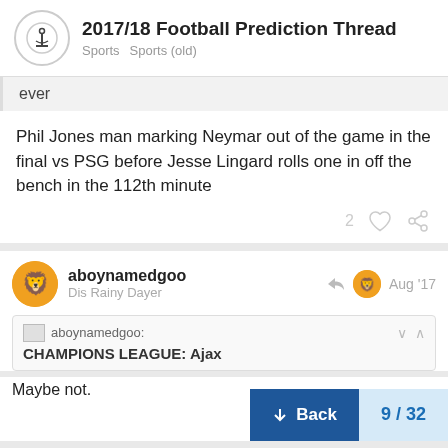2017/18 Football Prediction Thread — Sports  Sports (old)
ever
Phil Jones man marking Neymar out of the game in the final vs PSG before Jesse Lingard rolls one in off the bench in the 112th minute
aboynamedgoo
Dis Rainy Dayer
Aug '17
aboynamedgoo:
CHAMPIONS LEAGUE: Ajax
Maybe not.